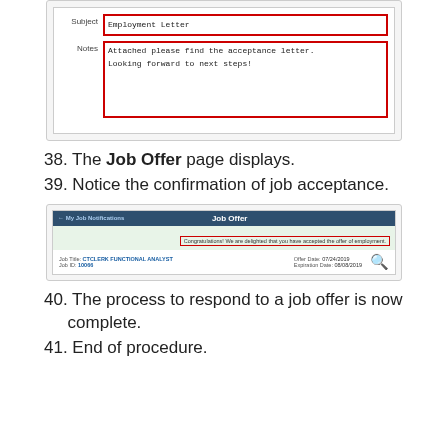[Figure (screenshot): Form screenshot showing Subject field with 'Employment Letter' and Notes field with 'Attached please find the acceptance letter. Looking forward to next steps!' Both fields highlighted with red borders.]
38. The Job Offer page displays.
39. Notice the confirmation of job acceptance.
[Figure (screenshot): Job Offer page screenshot showing a dark blue header bar with 'Job Offer' title. Green confirmation banner with red-bordered message: 'Congratulations! We are delighted that you have accepted the offer of employment.' Job Title: CTCLERK FUNCTIONAL ANALYST, Job ID: 10066, Offer Date: 07/24/2019, Expiration Date: 08/08/2019.]
40. The process to respond to a job offer is now complete.
41. End of procedure.